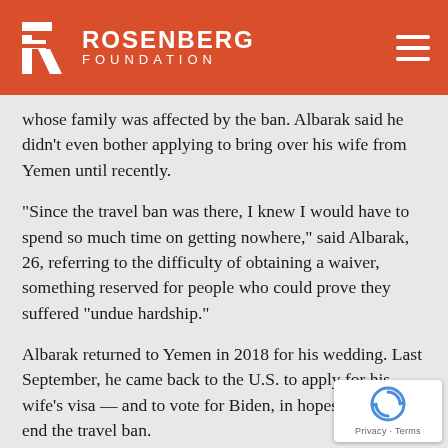ROSENBERG FOUNDATION
whose family was affected by the ban. Albarak said he didn't even bother applying to bring over his wife from Yemen until recently.
“Since the travel ban was there, I knew I would have to spend so much time on getting nowhere,” said Albarak, 26, referring to the difficulty of obtaining a waiver, something reserved for people who could prove they suffered “undue hardship.”
Albarak returned to Yemen in 2018 for his wedding. Last September, he came back to the U.S. to apply for his wife’s visa — and to vote for Biden, in hopes he would end the travel ban.
Albarak said he believes his family now has a better cha… reuniting in the U.S, though he expects the application to…